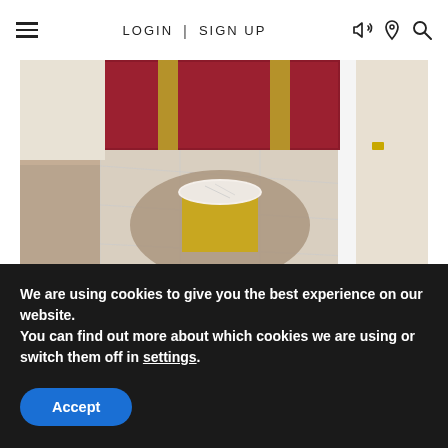LOGIN | SIGN UP
[Figure (photo): Interior room photo showing a gold cylindrical side table with marble top on a round brown rug, red velvet seating steps in background, marble tiled floor]
[Figure (photo): Close-up photo showing gold/brass metallic edge of a bathtub or tray on the left and a white shower tray with drain on the right]
We are using cookies to give you the best experience on our website.
You can find out more about which cookies we are using or switch them off in settings.
Accept